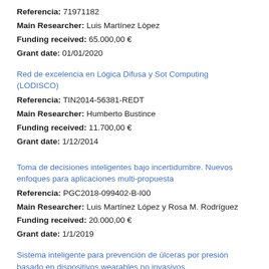Referencia: 71971182
Main Researcher: Luis Martínez Lòpez
Funding received: 65.000,00 €
Grant date: 01/01/2020
Red de excelencia en Lógica Difusa y Sot Computing (LODISCO)
Referencia: TIN2014-56381-REDT
Main Researcher: Humberto Bustince
Funding received: 11.700,00 €
Grant date: 1/12/2014
Toma de decisiones inteligentes bajo incertidumbre. Nuevos enfoques para aplicaciones multi-propuesta
Referencia: PGC2018-099402-B-I00
Main Researcher: Luis Martínez López y Rosa M. Rodríguez
Funding received: 20.000,00 €
Grant date: 1/1/2019
Sistema inteligente para prevención de úlceras por presión basado en dispositivos wearables no invasivos